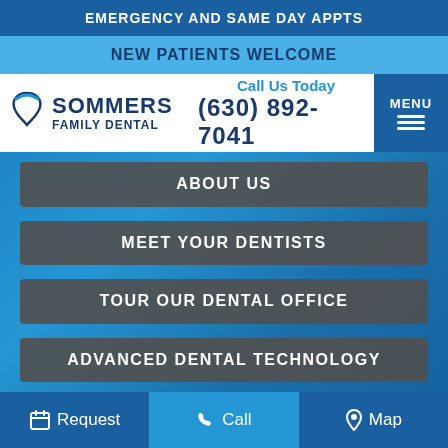EMERGENCY AND SAME DAY APPTS
NEW PATIENTS WELCOME
[Figure (logo): Sommers Family Dental logo with tooth icon]
Call Us Today
(630) 892-7041
MENU
ABOUT US
MEET YOUR DENTISTS
TOUR OUR DENTAL OFFICE
ADVANCED DENTAL TECHNOLOGY
Request  Call  Map